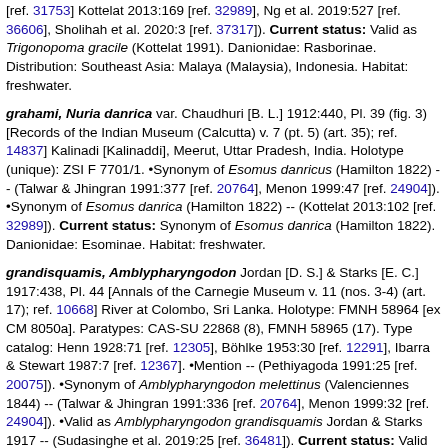[ref. 31753] Kottelat 2013:169 [ref. 32989], Ng et al. 2019:527 [ref. 36606], Sholihah et al. 2020:3 [ref. 37317]). Current status: Valid as Trigonopoma gracile (Kottelat 1991). Danionidae: Rasborinae. Distribution: Southeast Asia: Malaya (Malaysia), Indonesia. Habitat: freshwater.
grahami, Nuria danrica var. Chaudhuri [B. L.] 1912:440, Pl. 39 (fig. 3) [Records of the Indian Museum (Calcutta) v. 7 (pt. 5) (art. 35); ref. 14837] Kalinadi [Kalinaddi], Meerut, Uttar Pradesh, India. Holotype (unique): ZSI F 7701/1. •Synonym of Esomus danricus (Hamilton 1822) -- (Talwar & Jhingran 1991:377 [ref. 20764], Menon 1999:47 [ref. 24904]). •Synonym of Esomus danrica (Hamilton 1822) -- (Kottelat 2013:102 [ref. 32989]). Current status: Synonym of Esomus danrica (Hamilton 1822). Danionidae: Esominae. Habitat: freshwater.
grandisquamis, Amblypharyngodon Jordan [D. S.] & Starks [E. C.] 1917:438, Pl. 44 [Annals of the Carnegie Museum v. 11 (nos. 3-4) (art. 17); ref. 10668] River at Colombo, Sri Lanka. Holotype: FMNH 58964 [ex CM 8050a]. Paratypes: CAS-SU 22868 (8), FMNH 58965 (17). Type catalog: Henn 1928:71 [ref. 12305], Böhlke 1953:30 [ref. 12291], Ibarra & Stewart 1987:7 [ref. 12367]. •Mention -- (Pethiyagoda 1991:25 [ref. 20075]). •Synonym of Amblypharyngodon melettinus (Valenciennes 1844) -- (Talwar & Jhingran 1991:336 [ref. 20764], Menon 1999:32 [ref. 24904]). •Valid as Amblypharyngodon grandisquamis Jordan & Starks 1917 -- (Sudasinghe et al. 2019:25 [ref. 36481]). Current status: Valid as Amblypharyngodon grandisquamis Jordan & Starks 1917. Danionidae: Rasborinae. Distribution: Lowland floodplain of Sri Lanka. Habitat: freshwater.